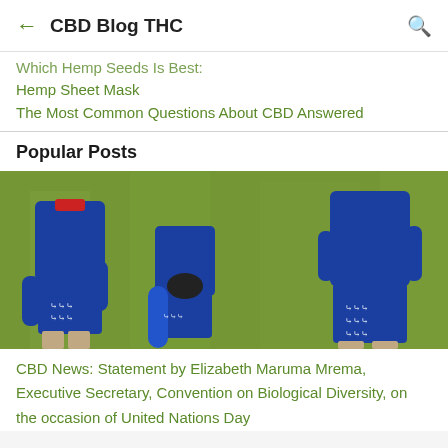CBD Blog THC
Which Hemp Seeds Is Best:
Hemp Sheet Mask
The Most Common Questions About CBD Answered
Popular Posts
[Figure (photo): Two soccer players in blue Hummel jerseys and shorts on a grass field, one assisting another with a leg/knee injury or stretch]
CBD News: Statement by Elizabeth Maruma Mrema, Executive Secretary, Convention on Biological Diversity, on the occasion of United Nations Day